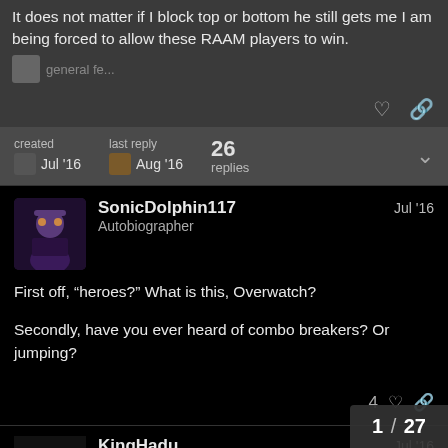It does not matter if I block top or bottom he still gets me I am being forced to allow these RAAM players to win.
created Jul '16    last reply Aug '16    26 replies
SonicDolphin117 Jul '16
Autobiographer
First off, “heroes?” What is this, Overwatch?
Secondly, have you ever heard of combo breakers? Or jumping?
KingHadu Jul '16
1 / 27